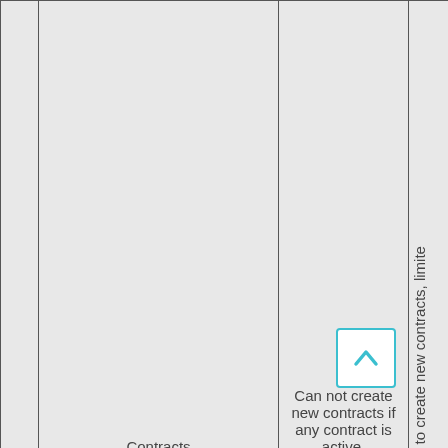|  | Contracts | Can not create new contracts if any contract is active. | e to create new contracts, limite |
| --- | --- | --- | --- |
|  |  |  |  |